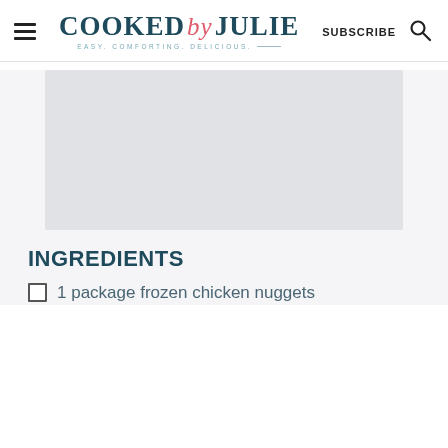COOKED by JULIE — EASY. COMFORTING. DELICIOUS. | SUBSCRIBE
[Figure (other): Light gray rectangular image placeholder for a food photo]
INGREDIENTS
1 package frozen chicken nuggets